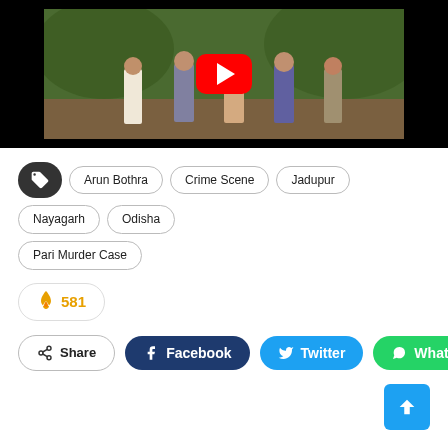[Figure (screenshot): YouTube video thumbnail showing people at a crime scene in a forest/outdoor setting. A YouTube play button (red button with white triangle) is overlaid in the center.]
Tags: Arun Bothra, Crime Scene, Jadupur, Nayagarh, Odisha, Pari Murder Case
🔥 581
Share  Facebook  Twitter  WhatsApp